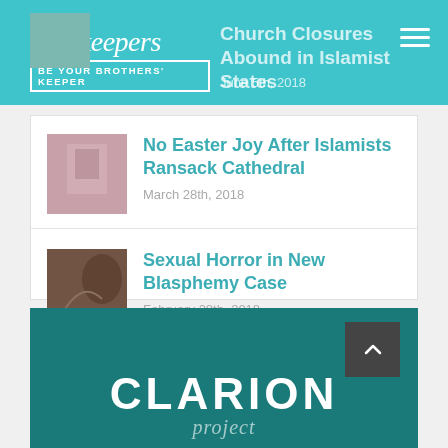faithkeepers — BE YOUR BROTHERS' KEEPER
Church Closures Abound in Islamist States
June 5th, 2018
No Easter Joy After Islamists Ransack Cathedral
March 28th, 2018
Sexual Horror in New Blasphemy Case
February 28th, 2018
CLARION project